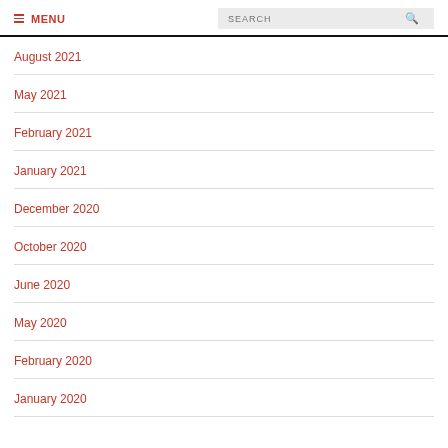MENU | SEARCH
August 2021
May 2021
February 2021
January 2021
December 2020
October 2020
June 2020
May 2020
February 2020
January 2020